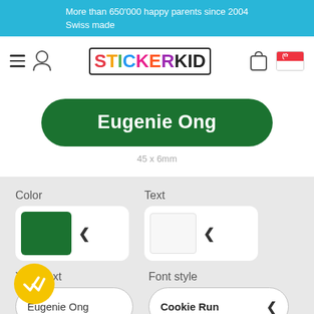More than 650'000 happy parents since 2004
Swiss made
[Figure (logo): StickerKid logo with hamburger menu, user icon, cart icon, and Singapore flag]
[Figure (other): Green rounded rectangle sticker preview with white text 'Eugenie Ong']
45 x 6mm
Color
[Figure (other): Color selector showing green swatch with chevron]
Text
[Figure (other): Text color selector showing white/light swatch with chevron]
Your Text
Eugenie Ong
Font style
Cookie Run